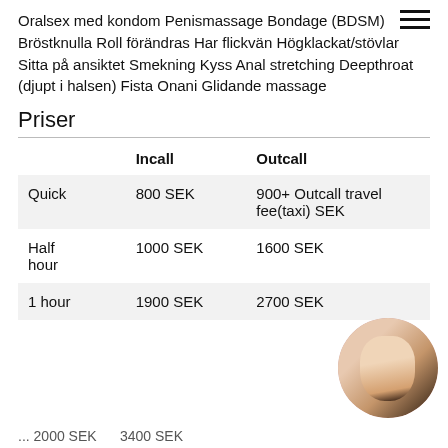Oralsex med kondom Penismassage Bondage (BDSM) Bröstknulla Roll förändras Har flickvän Högklackat/stövlar Sitta på ansiktet Smekning Kyss Anal stretching Deepthroat (djupt i halsen) Fista Onani Glidande massage
Priser
|  | Incall | Outcall |
| --- | --- | --- |
| Quick | 800 SEK | 900+ Outcall travel fee(taxi) SEK |
| Half hour | 1000 SEK | 1600 SEK |
| 1 hour | 1900 SEK | 2700 SEK |
| ... | 2000 SEK | 3400 SEK |
[Figure (photo): Circular portrait photo of a blonde woman in black lingerie]